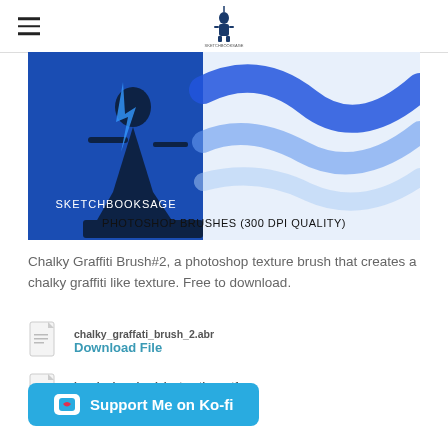SketchbookSage (logo/navigation)
[Figure (illustration): Banner image showing SketchbookSage logo with a warrior silhouette on the left on a blue background, and wavy blue brush stroke textures on the right. Text reads 'SKETCHBOOKSAGE PHOTOSHOP BRUSHES (300 DPI QUALITY)']
Chalky Graffiti Brush#2, a photoshop texture brush that creates a chalky graffiti like texture. Free to download.
chalky_graffati_brush_2.abr
Download File
brush_download_instructions.rtf
Download File
Support Me on Ko-fi